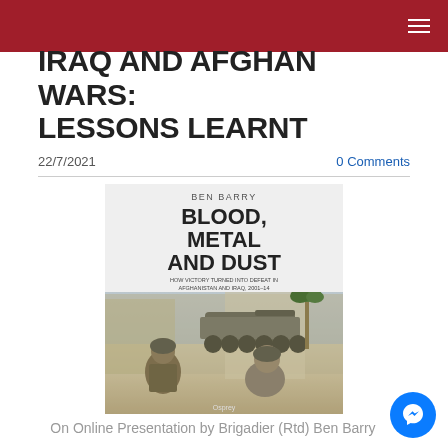IRAQ AND AFGHAN WARS: LESSONS LEARNT
22/7/2021
0 Comments
[Figure (photo): Book cover: 'Blood, Metal and Dust' by Ben Barry. How Victory Turned into Defeat in Afghanistan and Iraq, 2001-14. Shows soldiers and military vehicles in a combat scene.]
On Online Presentation by Brigadier (Rtd) Ben Barry
Date: 22nd July 2021 at 6.30pm